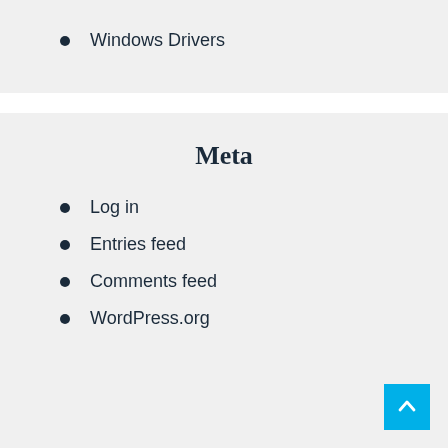Windows Drivers
Meta
Log in
Entries feed
Comments feed
WordPress.org